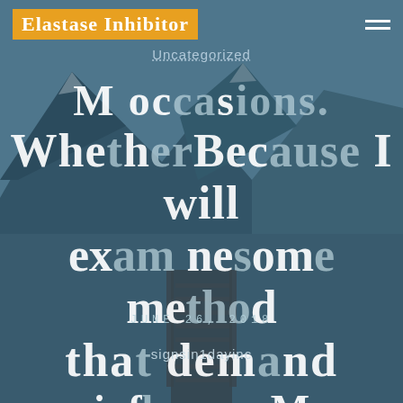Elastase Inhibitor
Uncategorized
M occasions. Whether Because I will examine some method that demand influences M instances. Whether Because I will
JUNE 26, 2018
signsin1dayinc